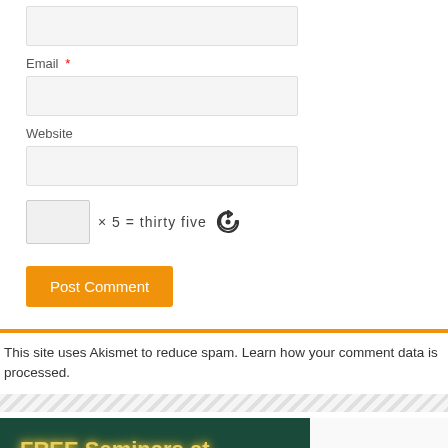Email *
Website
× 5 = thirty five
Post Comment
This site uses Akismet to reduce spam. Learn how your comment data is processed.
[Figure (illustration): Banner advertisement for FREE Seminars at The Lending Center, September 10, with orange Translate button overlay]